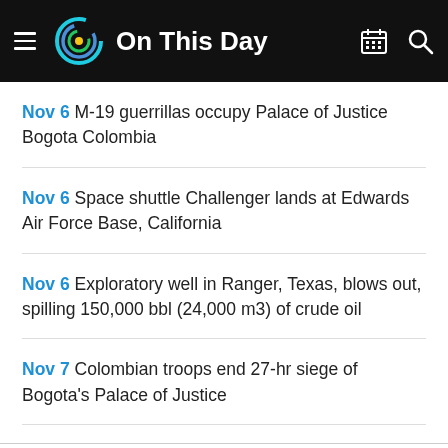On This Day
Nov 6 M-19 guerrillas occupy Palace of Justice Bogota Colombia
Nov 6 Space shuttle Challenger lands at Edwards Air Force Base, California
Nov 6 Exploratory well in Ranger, Texas, blows out, spilling 150,000 bbl (24,000 m3) of crude oil
Nov 7 Colombian troops end 27-hr siege of Bogota's Palace of Justice